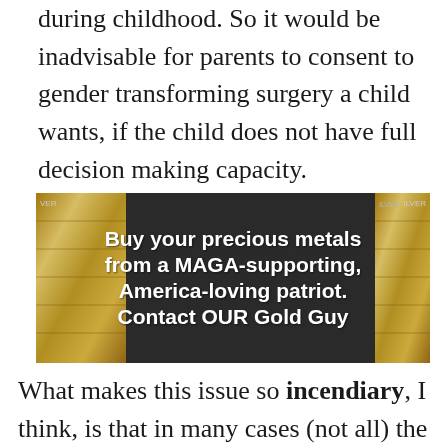during childhood. So it would be inadvisable for parents to consent to gender transforming surgery a child wants, if the child does not have full decision making capacity.
[Figure (photo): Advertisement banner showing gold bars with dark overlay text: 'Buy your precious metals from a MAGA-supporting, America-loving patriot. Contact OUR Gold Guy']
What makes this issue so incendiary, I think, is that in many cases (not all) the very thought of children considering gender reassignment is not even their own